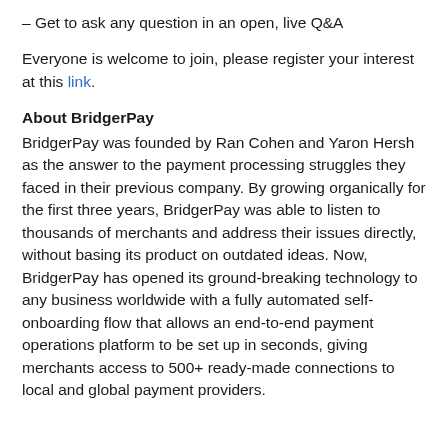– Get to ask any question in an open, live Q&A
Everyone is welcome to join, please register your interest at this link.
About BridgerPay
BridgerPay was founded by Ran Cohen and Yaron Hersh as the answer to the payment processing struggles they faced in their previous company. By growing organically for the first three years, BridgerPay was able to listen to thousands of merchants and address their issues directly, without basing its product on outdated ideas. Now, BridgerPay has opened its ground-breaking technology to any business worldwide with a fully automated self-onboarding flow that allows an end-to-end payment operations platform to be set up in seconds, giving merchants access to 500+ ready-made connections to local and global payment providers.